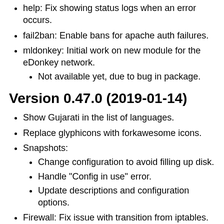help: Fix showing status logs when an error occurs.
fail2ban: Enable bans for apache auth failures.
mldonkey: Initial work on new module for the eDonkey network.
Not available yet, due to bug in package.
Version 0.47.0 (2019-01-14)
Show Gujarati in the list of languages.
Replace glyphicons with forkawesome icons.
Snapshots:
Change configuration to avoid filling up disk.
Handle "Config in use" error.
Update descriptions and configuration options.
Firewall: Fix issue with transition from iptables.
Security: Switch to Argon2 password hash.
Cockpit: Add link to manual page and update